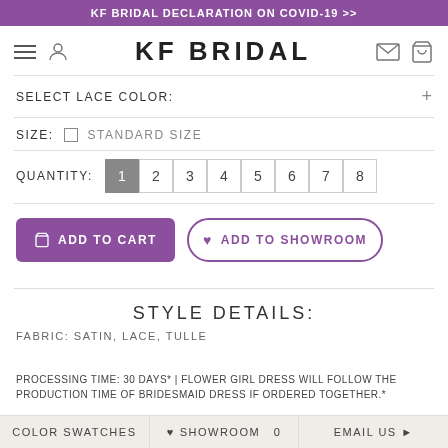KF BRIDAL DECLARATION ON COVID-19 >>
KF BRIDAL
SELECT LACE COLOR:
SIZE: STANDARD SIZE
QUANTITY: 1 2 3 4 5 6 7 8
ADD TO CART
ADD TO SHOWROOM
STYLE DETAILS:
FABRIC: SATIN, LACE, TULLE
PROCESSING TIME: 30 DAYS* | FLOWER GIRL DRESS WILL FOLLOW THE PRODUCTION TIME OF BRIDESMAID DRESS IF ORDERED TOGETHER.*
COLOR SWATCHES | SHOWROOM 0 | EMAIL US